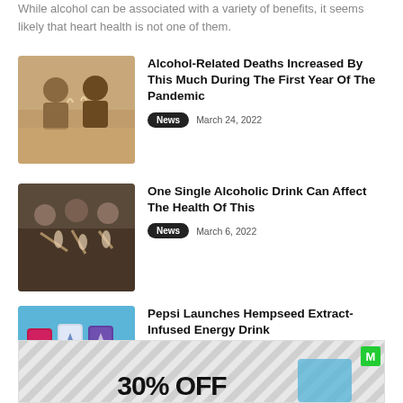While alcohol can be associated with a variety of benefits, it seems likely that heart health is not one of them.
[Figure (photo): Two people toasting with wine glasses, smiling]
Alcohol-Related Deaths Increased By This Much During The First Year Of The Pandemic
News   March 24, 2022
[Figure (photo): Group of people clinking glasses at a party]
One Single Alcoholic Drink Can Affect The Health Of This
News   March 6, 2022
[Figure (photo): Rockstar energy drink cans on blue background]
Pepsi Launches Hempseed Extract-Infused Energy Drink
News   February 3, 2022
[Figure (other): Advertisement banner showing 30% OFF]